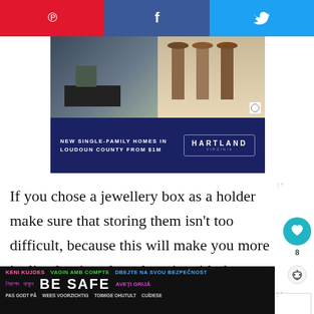[Figure (other): Social share bar with Pinterest (red), Facebook (dark blue), and Twitter (light blue) buttons]
[Figure (other): Advertisement for Hartland Virginia new single-family homes in Loudoun County from $1M, with room/furniture photos above and dark blue banner below]
If you chose a jewellery box as a holder make sure that storing them isn't too difficult, because this will make you more inclined to just drop them in with the intention to sort out later; this is where they become separated from its pair and never worn again.
[Figure (other): Be Safe multilingual safety advertisement banner on dark background]
[Figure (other): What's Next: Bathroom Organization widget]